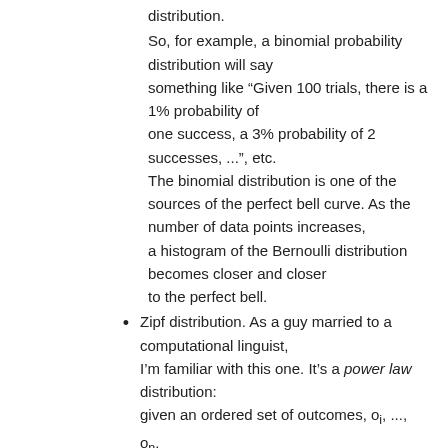distribution.
So, for example, a binomial probability distribution will say something like “Given 100 trials, there is a 1% probability of one success, a 3% probability of 2 successes, ...”, etc. The binomial distribution is one of the sources of the perfect bell curve. As the number of data points increases, a histogram of the Bernoulli distribution becomes closer and closer to the perfect bell.
Zipf distribution. As a guy married to a computational linguist, I’m familiar with this one. It’s a power law distribution: given an ordered set of outcomes, oᵢ, ..., oₙ, the probabilities work out so that P(o₁)=2×P(o₂); P(o₂)=2×P(o₃), and so on. The most example of this is if you take a huge volume of english